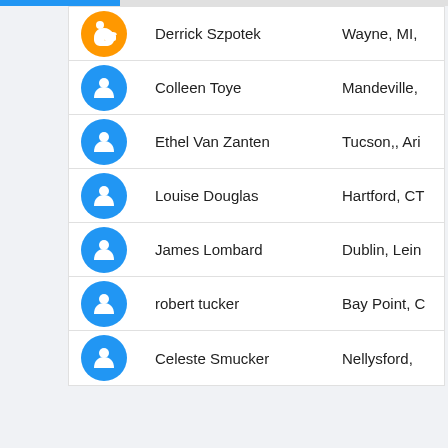| Avatar | Name | Location |
| --- | --- | --- |
| [thumbs-up orange icon] | Derrick Szpotek | Wayne, MI, |
| [person blue icon] | Colleen Toye | Mandeville, |
| [person blue icon] | Ethel Van Zanten | Tucson,, Ari |
| [person blue icon] | Louise Douglas | Hartford, CT |
| [person blue icon] | James Lombard | Dublin, Lein |
| [person blue icon] | robert tucker | Bay Point, C |
| [person blue icon] | Celeste Smucker | Nellysford, |